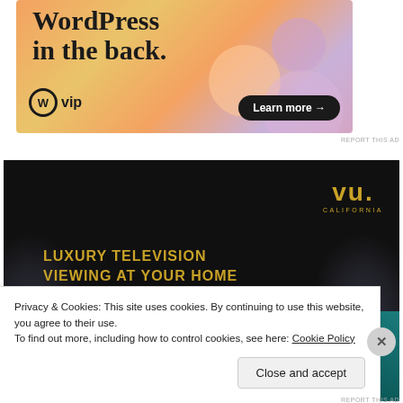[Figure (illustration): WordPress VIP advertisement with colorful gradient background (orange, pink, purple blobs). Large serif text reads 'WordPress in the back.' with a WP VIP logo and 'Learn more →' button.]
REPORT THIS AD
[Figure (illustration): VU California luxury television advertisement on dark/black background. Gold VU logo top right with 'CALIFORNIA' text. Gold bold text reads 'LUXURY TELEVISION VIEWING AT YOUR HOME'. Teal TV screen visible at bottom with 4K badge.]
Privacy & Cookies: This site uses cookies. By continuing to use this website, you agree to their use.
To find out more, including how to control cookies, see here: Cookie Policy
Close and accept
REPORT THIS AD